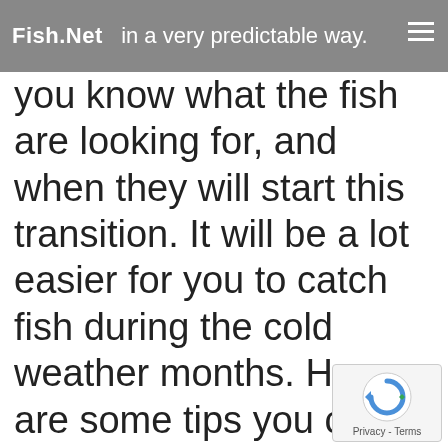Fish.Net   (partially visible) in grey bar with hamburger menu
water temps affects fishing in a very predictable way. If you know what the fish are looking for, and when they will start this transition. It will be a lot easier for you to catch fish during the cold weather months. Here are some tips you can use to be successful when the water temps plummet below 65 degrees. I understand that not everyone can be out on the water 3-6 days a week like i